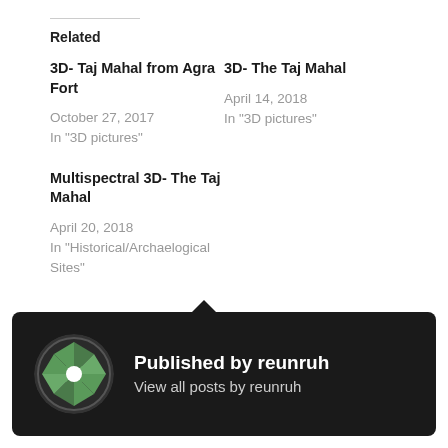Related
3D- Taj Mahal from Agra Fort
October 27, 2017
In "3D pictures"
3D- The Taj Mahal
April 14, 2018
In "3D pictures"
Multispectral 3D- The Taj Mahal
April 20, 2018
In "Historical/Archaelogical Sites"
Published by reunruh
View all posts by reunruh